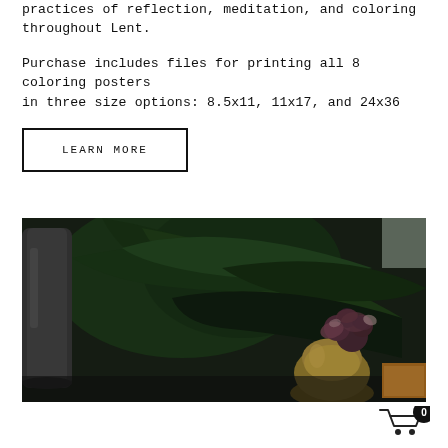practices of reflection, meditation, and coloring throughout Lent.
Purchase includes files for printing all 8 coloring posters in three size options: 8.5x11, 11x17, and 24x36
LEARN MORE
[Figure (photo): Dark moody photograph of green tropical leaves and a small flower in a gold/brass vase on a surface, with dark background and warm accent light.]
0